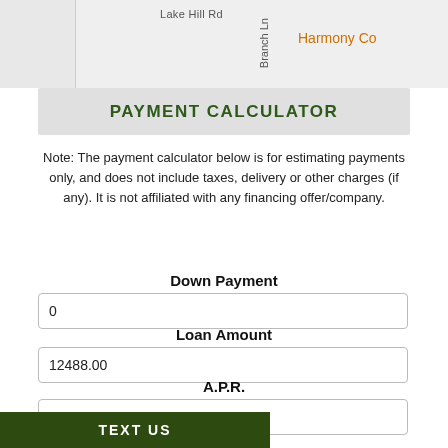[Figure (map): Partial street map showing Lake Hill Rd, Branch Ln, and Harmony Co label in orange]
PAYMENT CALCULATOR
Note: The payment calculator below is for estimating payments only, and does not include taxes, delivery or other charges (if any). It is not affiliated with any financing offer/company.
Down Payment
0
Loan Amount
12488.00
A.P.R.
6.5
Term
TEXT US